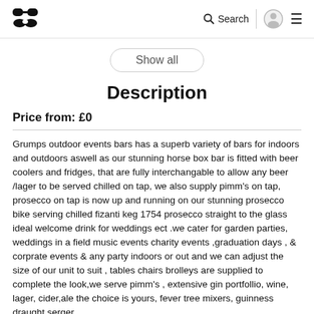Logo | Search | User | Menu
Show all
Description
Price from: £0
Grumps outdoor events bars has a superb variety of bars for indoors and outdoors aswell as our stunning horse box bar is fitted with beer coolers and fridges, that are fully interchangable to allow any beer /lager to be served chilled on tap, we also supply pimm's on tap, prosecco on tap is now up and running on our stunning prosecco bike serving chilled fizanti keg 1754 prosecco straight to the glass ideal welcome drink for weddings ect .we cater for garden parties, weddings in a field music events charity events ,graduation days , & corprate events & any party indoors or out and we can adjust the size of our unit to suit , tables chairs brolleys are supplied to complete the look,we serve pimm's , extensive gin portfollio, wine, lager, cider,ale the choice is yours, fever tree mixers, guinness draught serger